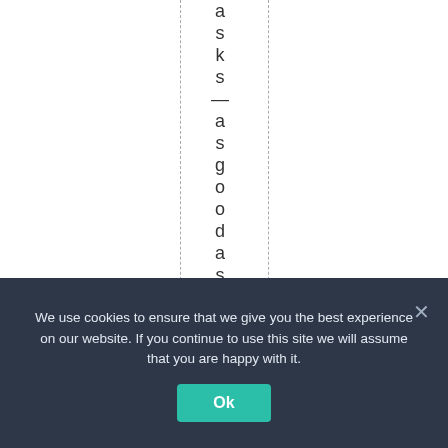a s k s — a s g o o d a s N 9 5 ( P 2...
We use cookies to ensure that we give you the best experience on our website. If you continue to use this site we will assume that you are happy with it.